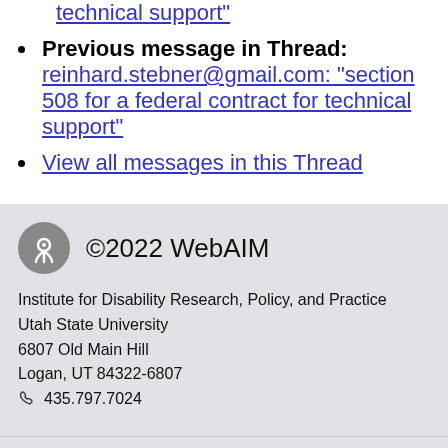technical support"
Previous message in Thread: reinhard.stebner@gmail.com: "section 508 for a federal contract for technical support"
View all messages in this Thread
©2022 WebAIM
Institute for Disability Research, Policy, and Practice
Utah State University
6807 Old Main Hill
Logan, UT 84322-6807
435.797.7024
Check Your Accessibility
Web site address: